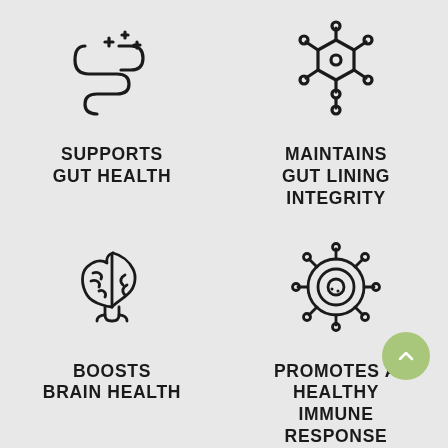[Figure (illustration): Line icon of intestines/gut with sparkle plus signs indicating gut health]
SUPPORTS GUT HEALTH
[Figure (illustration): Line icon of a molecular/chemical structure representing gut lining integrity]
MAINTAINS GUT LINING INTEGRITY
[Figure (illustration): Line icon of a brain representing brain health]
BOOSTS BRAIN HEALTH
[Figure (illustration): Line icon of a virus/cell with spikes representing immune response]
PROMOTES A HEALTHY IMMUNE RESPONSE